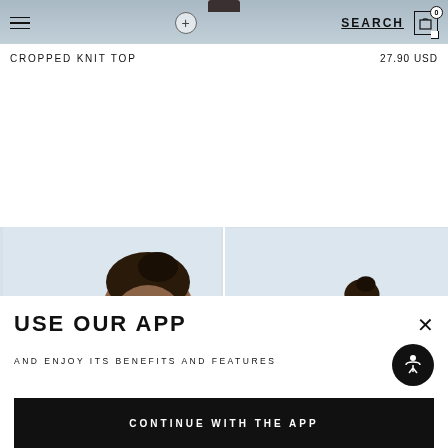[Figure (screenshot): E-commerce website navigation bar with hamburger menu, search link, and cart icon (0 items). Background shows partial product image with a '+' button overlay.]
CROPPED KNIT TOP
27.90 USD
[Figure (photo): Two side-by-side product photos showing a Black female model wearing a cropped knit top. Left image shows close-up of face/upper body, right image shows a more distant view.]
USE OUR APP
AND ENJOY ITS BENEFITS AND FEATURES
CONTINUE WITH THE APP